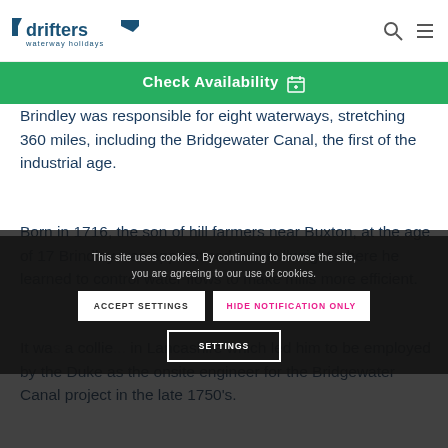drifters waterway holidays
Check Availability
Brindley was responsible for eight waterways, stretching 360 miles, including the Bridgewater Canal, the first of the industrial age.
Born in 1716, the son of hill farmers near Buxton, at the age of 17 Brindley was apprenticed to a millwright where he learned to control water flows to make mills more efficient.
It was... a collie... in Lancashire which led him to be employed by the Duke as the onsite engineer for the Bridgewater Canal project in the late 1750's.
This site uses cookies. By continuing to browse the site, you are agreeing to our use of cookies.
ACCEPT SETTINGS
HIDE NOTIFICATION ONLY
SETTINGS